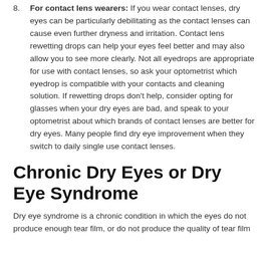8. For contact lens wearers: If you wear contact lenses, dry eyes can be particularly debilitating as the contact lenses can cause even further dryness and irritation. Contact lens rewetting drops can help your eyes feel better and may also allow you to see more clearly. Not all eyedrops are appropriate for use with contact lenses, so ask your optometrist which eyedrop is compatible with your contacts and cleaning solution. If rewetting drops don't help, consider opting for glasses when your dry eyes are bad, and speak to your optometrist about which brands of contact lenses are better for dry eyes. Many people find dry eye improvement when they switch to daily single use contact lenses.
Chronic Dry Eyes or Dry Eye Syndrome
Dry eye syndrome is a chronic condition in which the eyes do not produce enough tear film, or do not produce the quality of tear film needed to keep the eyes healthy.